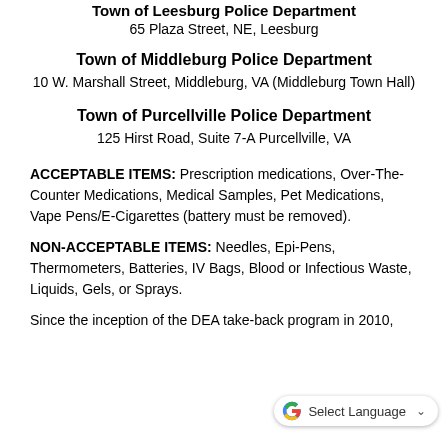Town of Leesburg Police Department
65 Plaza Street, NE, Leesburg
Town of Middleburg Police Department
10 W. Marshall Street, Middleburg, VA (Middleburg Town Hall)
Town of Purcellville Police Department
125 Hirst Road, Suite 7-A Purcellville, VA
ACCEPTABLE ITEMS: Prescription medications, Over-The-Counter Medications, Medical Samples, Pet Medications, Vape Pens/E-Cigarettes (battery must be removed).
NON-ACCEPTABLE ITEMS: Needles, Epi-Pens, Thermometers, Batteries, IV Bags, Blood or Infectious Waste, Liquids, Gels, or Sprays.
Since the inception of the DEA take-back program in 2010,